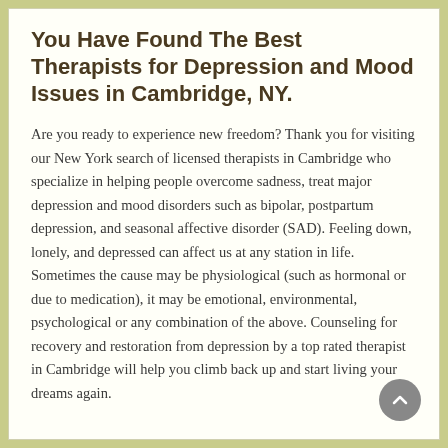You Have Found The Best Therapists for Depression and Mood Issues in Cambridge, NY.
Are you ready to experience new freedom? Thank you for visiting our New York search of licensed therapists in Cambridge who specialize in helping people overcome sadness, treat major depression and mood disorders such as bipolar, postpartum depression, and seasonal affective disorder (SAD). Feeling down, lonely, and depressed can affect us at any station in life. Sometimes the cause may be physiological (such as hormonal or due to medication), it may be emotional, environmental, psychological or any combination of the above. Counseling for recovery and restoration from depression by a top rated therapist in Cambridge will help you climb back up and start living your dreams again.